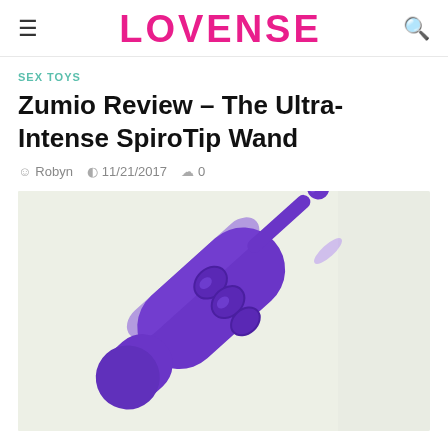LOVENSE
SEX TOYS
Zumio Review – The Ultra-Intense SpiroTip Wand
Robyn  11/21/2017  0
[Figure (photo): Close-up photo of a purple Zumio SpiroTip wand vibrator against a light green/white background, showing the elongated purple body with control buttons and the narrow tip extending upward to the right.]